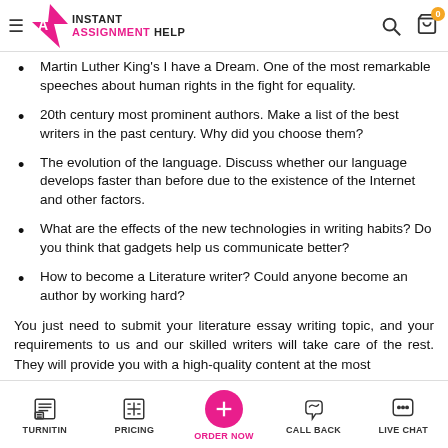Instant Assignment Help
Martin Luther King's I have a Dream. One of the most remarkable speeches about human rights in the fight for equality.
20th century most prominent authors. Make a list of the best writers in the past century. Why did you choose them?
The evolution of the language. Discuss whether our language develops faster than before due to the existence of the Internet and other factors.
What are the effects of the new technologies in writing habits? Do you think that gadgets help us communicate better?
How to become a Literature writer? Could anyone become an author by working hard?
You just need to submit your literature essay writing topic, and your requirements to us and our skilled writers will take care of the rest. They will provide you with a high-quality content at the most
TURNITIN | PRICING | ORDER NOW | CALL BACK | LIVE CHAT